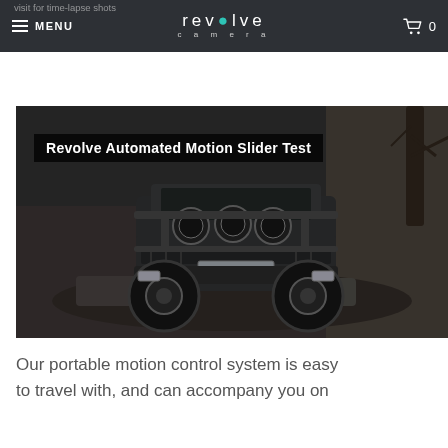revolve camera — MENU | cart 0
[Figure (screenshot): Screenshot of Revolve Camera website showing a dark navbar with 'MENU' on left, 'revolve camera' logo in center, and cart icon with '0' on right. Below is a video thumbnail showing a Land Rover Defender on a rocky off-road terrain with the overlay text 'Revolve Automated Motion Slider Test'.]
Our portable motion control system is easy to travel with, and can accompany you on